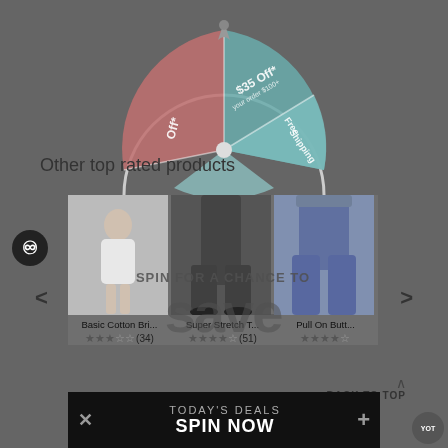[Figure (screenshot): E-commerce website screenshot showing a spin-to-win promotional wheel overlay on top of a product page. The wheel shows segments including '$35 Off* your order $100+', 'Free Shipping*', and 'Off*' in teal, pink/red and teal colors. Below is a section titled 'Other top rated products' showing three product images with star ratings. An overlay text reads 'SPIN FOR A CHANCE TO save'. A bottom bar says 'TODAY'S DEALS / SPIN NOW'. Navigation arrows are visible on either side.]